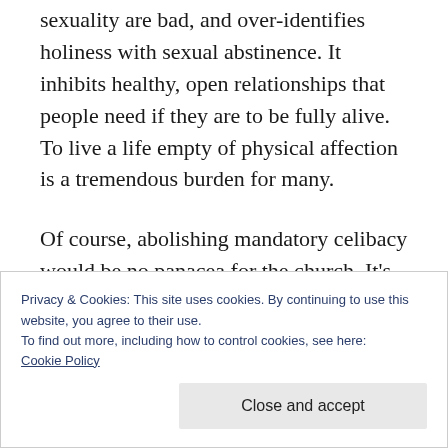of self and sexuality. It implies that self and sexuality are bad, and over-identifies holiness with sexual abstinence. It inhibits healthy, open relationships that people need if they are to be fully alive. To live a life empty of physical affection is a tremendous burden for many.
Of course, abolishing mandatory celibacy would be no panacea for the church. It’s not going to pack the pews again or solve the vocations crisis. It would create problems of its own but
Privacy & Cookies: This site uses cookies. By continuing to use this website, you agree to their use.
To find out more, including how to control cookies, see here:
Cookie Policy
Close and accept